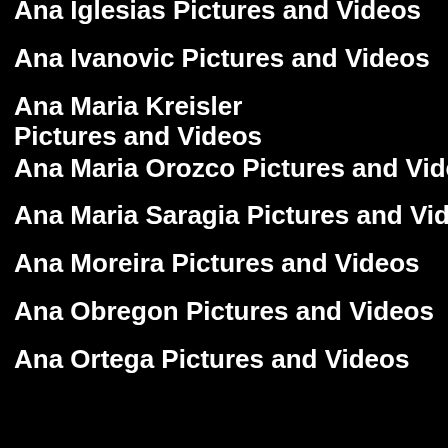Ana Iglesias Pictures and Videos
Ana Ivanovic Pictures and Videos
Ana Maria Kreisler Pictures and Videos
Ana Maria Orozco Pictures and Videos
Ana Maria Saragia Pictures and Videos
Ana Moreira Pictures and Videos
Ana Obregon Pictures and Videos
Ana Ortega Pictures and Videos